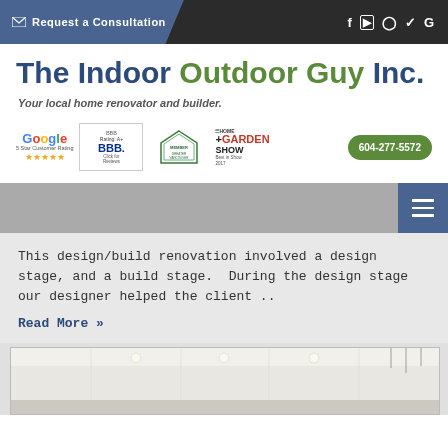✉ Request a Consultation   f  ▶  ○  ✓  G
The Indoor Outdoor Guy Inc.
Your local home renovator and builder.
[Figure (logo): Google 5 Star Customer Rating badge, BBB Accredited Business Rating A+ badge, Member Greater Vancouver badge, The Home + Garden Show Best in Show 2017 badge]
604-277-5572
[Figure (screenshot): Navigation hamburger menu button (three horizontal lines) on blue background]
This design/build renovation involved a design stage, and a build stage.  During the design stage our designer helped the client ..
Read More »
[Figure (photo): Interior room photo showing white ceiling with recessed lighting fixtures]